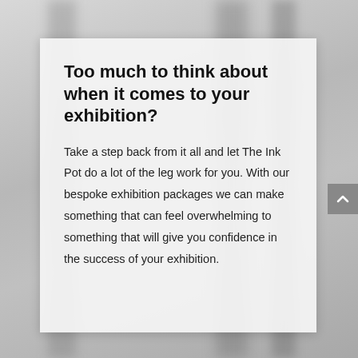Too much to think about when it comes to your exhibition?
Take a step back from it all and let The Ink Pot do a lot of the leg work for you. With our bespoke exhibition packages we can make something that can feel overwhelming to something that will give you confidence in the success of your exhibition.